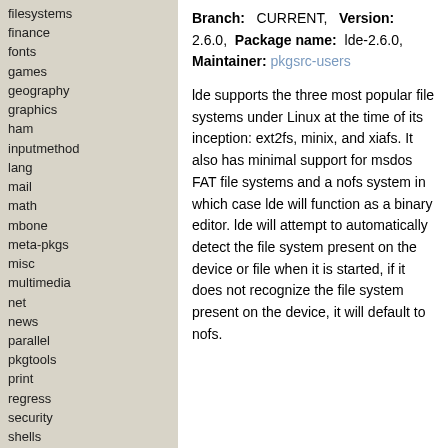filesystems
finance
fonts
games
geography
graphics
ham
inputmethod
lang
mail
math
mbone
meta-pkgs
misc
multimedia
net
news
parallel
pkgtools
print
regress
security
shells
sysutils
textproc
time
▶ wip
▶ lde
wm
www
Branch: CURRENT, Version: 2.6.0, Package name: lde-2.6.0, Maintainer: pkgsrc-users
lde supports the three most popular file systems under Linux at the time of its inception: ext2fs, minix, and xiafs. It also has minimal support for msdos FAT file systems and a nofs system in which case lde will function as a binary editor. lde will attempt to automatically detect the file system present on the device or file when it is started, if it does not recognize the file system present on the device, it will default to nofs.